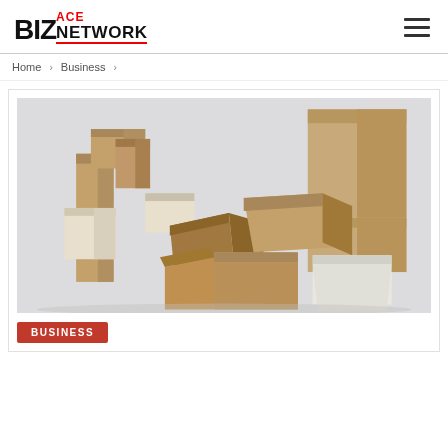BIZ ACE NETWORK — hamburger menu
Home > Business >
[Figure (photo): Collection of various cardboard boxes and packaging boxes in brown kraft and white, stacked and arranged in different sizes and configurations against a light grey background.]
BUSINESS